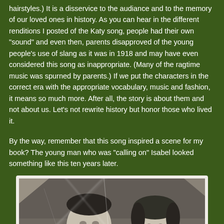hairstyles.) It is a disservice to the audiance and to the memory of our loved ones in history. As you can hear in the different renditions I posted of the Katy song, people had their own "sound" and even then, parents disapproved of the young people's use of slang as it was in 1918 and may have even considered this song as inappropriate. (Many of the ragtime music was spurned by parents.) If we put the characters in the correct era with the appropriate vocabulary, music and fashion, it means so much more. After all, the story is about them and not about us. Let's not rewrite history but honor those who lived it.
By the way, remember that this song inspired a scene for my book? The young man who was "calling on" Isabel looked something like this ten years later.
[Figure (photo): A vintage black-and-white photograph showing a young man and a young woman smiling together. The photo appears worn and damaged with cracks/tears. The man is on the left with dark hair, the woman is on the right. Photo has a white/cream border.]